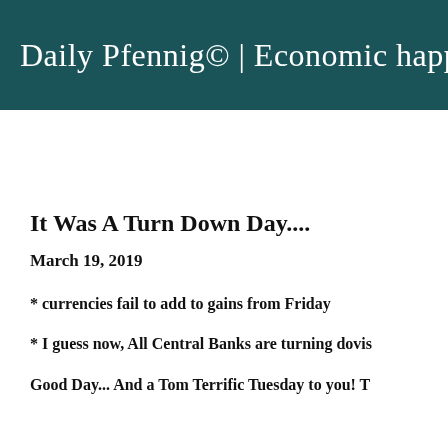Daily Pfennig© | Economic happen
It Was A Turn Down Day....
March 19, 2019
* currencies fail to add to gains from Friday
* I guess now, All Central Banks are turning dovis
Good Day... And a Tom Terrific Tuesday to you! T